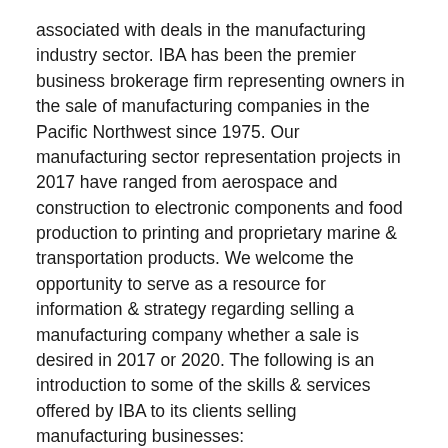associated with deals in the manufacturing industry sector.  IBA has been the premier business brokerage firm representing owners in the sale of manufacturing companies in the Pacific Northwest since 1975.   Our manufacturing sector representation projects in 2017 have ranged from aerospace and construction to electronic components and food production to printing and proprietary marine & transportation products.  We welcome the opportunity to serve as a resource for information & strategy regarding selling a manufacturing company whether a sale is desired in 2017 or 2020.  The following is an introduction to some of the skills & services offered by IBA to its clients selling manufacturing businesses:
Business Valuation – The first step in the sale of a manufacturing business is to determine the value to offer it in the marketplace.  Business valuation is